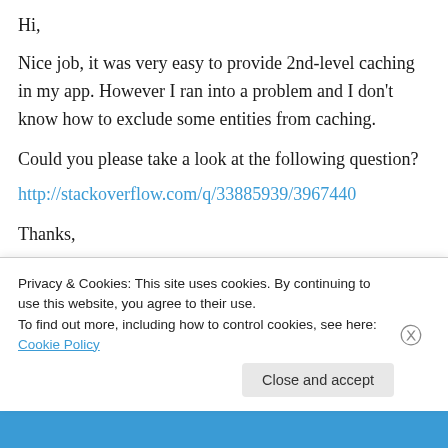Hi,
Nice job, it was very easy to provide 2nd-level caching in my app. However I ran into a problem and I don't know how to exclude some entities from caching.

Could you please take a look at the following question?
http://stackoverflow.com/q/33885939/3967440

Thanks,
Like
Privacy & Cookies: This site uses cookies. By continuing to use this website, you agree to their use.
To find out more, including how to control cookies, see here: Cookie Policy
Close and accept